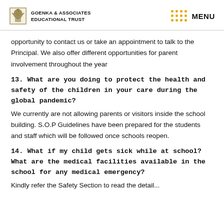GOENKA & ASSOCIATES EDUCATIONAL TRUST | MENU
opportunity to contact us or take an appointment to talk to the Principal. We also offer different opportunities for parent involvement throughout the year
13. What are you doing to protect the health and safety of the children in your care during the global pandemic?
We currently are not allowing parents or visitors inside the school building. S.O.P Guidelines have been prepared for the students and staff which will be followed once schools reopen.
14. What if my child gets sick while at school? What are the medical facilities available in the school for any medical emergency?
Kindly refer the Safety Section to read the detail...